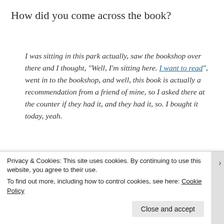How did you come across the book?
I was sitting in this park actually, saw the bookshop over there and I thought, “Well, I’m sitting here. I want to read”, went in to the bookshop, and well, this book is actually a recommendation from a friend of mine, so I asked there at the counter if they had it, and they had it, so. I bought it today, yeah.
So far, what perspective have you gained from
Privacy & Cookies: This site uses cookies. By continuing to use this website, you agree to their use.
To find out more, including how to control cookies, see here: Cookie Policy